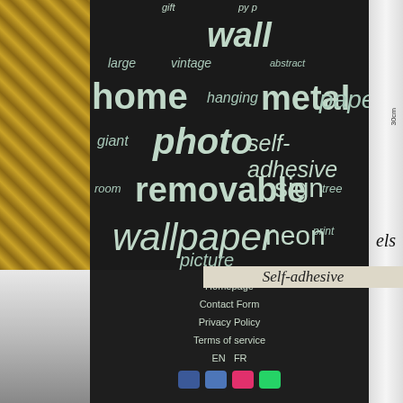[Figure (infographic): Tag cloud of wallpaper-related keywords on dark background: wall, home, metal, paper, photo, self-adhesive, removable, sign, wallpaper, neon, picture, large, vintage, abstract, hanging, giant, room, tree, print]
[Figure (photo): Left side photo of decorative wall panels with geometric pattern, gold/brown and white colors]
[Figure (photo): Right side strip showing a wallpaper roll sample]
Self-adhesive
Homepage  Contact Form  Privacy Policy  Terms of service  EN  FR